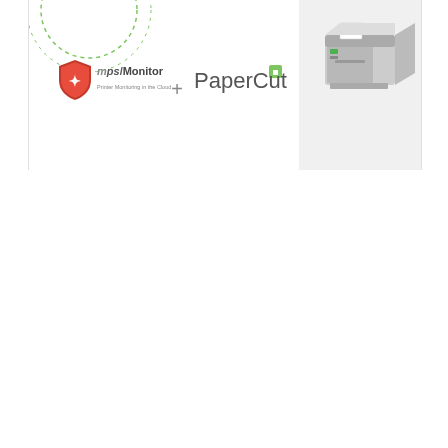[Figure (logo): Banner showing MPS Monitor logo (red shield with 'MPS Monitor - Printer Monitoring in the Cloud' text) plus sign and PaperCut logo (green square with 'PaperCut' text), alongside a printer illustration on a gray background. Green dashed circular lines visible in the top left.]